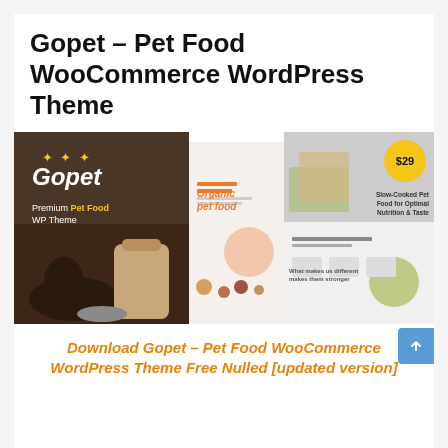Gopet – Pet Food WooCommerce WordPress Theme
[Figure (screenshot): Screenshot composite of Gopet Pet Food WooCommerce WordPress Theme showing three demo layouts: a dark brown panel with the Gopet logo, dog and premium pet food branding; a white organic pet food layout; and a grey modern layout with a $29 price badge, pet food imagery and 'What makes us different makes them stronger' section.]
Download Gopet – Pet Food WooCommerce WordPress Theme Free Nulled [updated version]